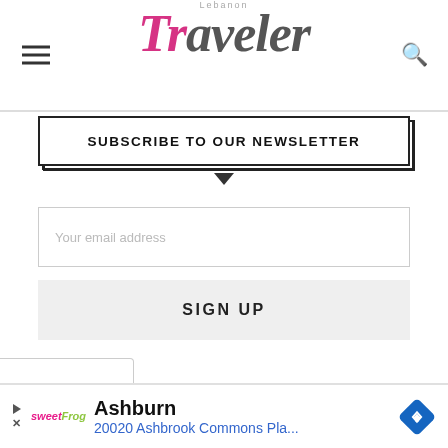Lebanon Traveler
SUBSCRIBE TO OUR NEWSLETTER
Your email address
SIGN UP
[Figure (screenshot): Advertisement banner showing sweetFrog logo, Ashburn location text, and address 20020 Ashbrook Commons Pla... with navigation arrow icon]
Ashburn
20020 Ashbrook Commons Pla...